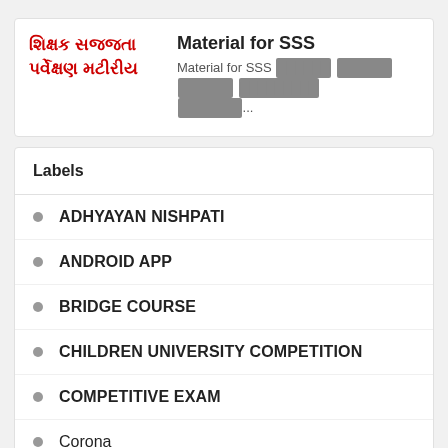શિક્ષક સજ્જતા પર્વેક્ષણ મટીરીય
Material for SSS
Material for SSS ██████ ██████ ██████ █████████ ███████...
Labels
ADHYAYAN NISHPATI
ANDROID APP
BRIDGE COURSE
CHILDREN UNIVERSITY COMPETITION
COMPETITIVE EXAM
Corona
EDUCATION